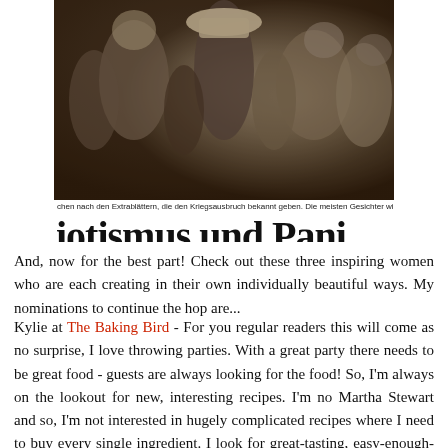[Figure (photo): Vintage black and white photograph of a crowd of people, partially visible, cropped. Below the photo is a partial German caption and a large partial newspaper headline reading 'iotismus und Pani']
chen nach den Extrablättern, die den Kriegsausbruch bekannt geben. Die meisten Gesichter wi
And, now for the best part! Check out these three inspiring women who are each creating in their own individually beautiful ways. My nominations to continue the hop are...
Kylie at The Baking Bird - For you regular readers this will come as no surprise, I love throwing parties. With a great party there needs to be great food - guests are always looking for the food! So, I'm always on the lookout for new, interesting recipes. I'm no Martha Stewart and so, I'm not interested in hugely complicated recipes where I need to buy every single ingredient. I look for great-tasting, easy-enough-for-me-to-make-without-a-ton-of-stress, beautiful food. At The Baking